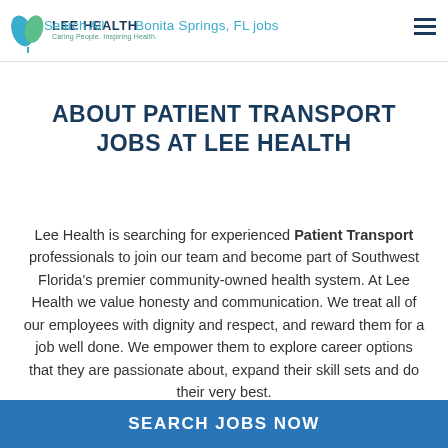[Figure (logo): Lee Health logo with teal/blue leaf graphic and text 'LEE HEALTH - Caring People. Inspiring Health.']
Search All Bonita Springs, FL jobs
ABOUT PATIENT TRANSPORT JOBS AT LEE HEALTH
Lee Health is searching for experienced Patient Transport professionals to join our team and become part of Southwest Florida's premier community-owned health system. At Lee Health we value honesty and communication. We treat all of our employees with dignity and respect, and reward them for a job well done. We empower them to explore career options that they are passionate about, expand their skill sets and do their very best.
SEARCH JOBS NOW